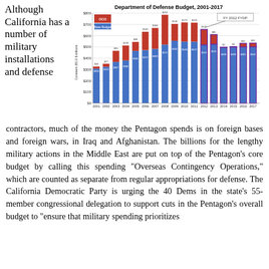Although California has a number of military installations and defense contractors, much of the money the Pentagon spends is on foreign bases and foreign wars, in Iraq and Afghanistan. The billions for the lengthy military actions in the Middle East are put on top of the Pentagon's core budget by calling this spending "Overseas Contingency Operations," which are counted as separate from regular appropriations for defense. The California Democratic Party is urging the 40 Dems in the state's 55-member congressional delegation to support cuts in the Pentagon's overall budget to "ensure that military spending prioritizes
[Figure (stacked-bar-chart): Department of Defense Budget, 2001-2017]